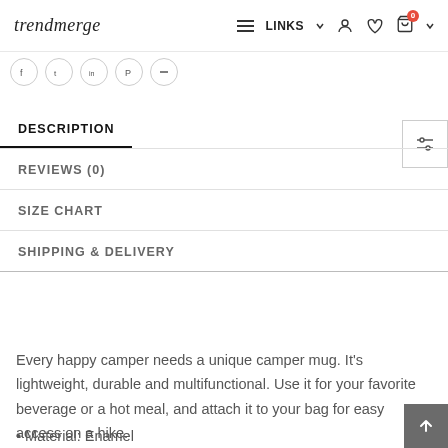trendmerge — navigation bar with hamburger, LINKS, user, heart, cart icons
[Figure (screenshot): Social share icons row: Facebook, Twitter/X, LinkedIn, Pinterest, minus/link button — all in circular outlines]
DESCRIPTION
REVIEWS (0)
SIZE CHART
SHIPPING & DELIVERY
Every happy camper needs a unique camper mug. It's lightweight, durable and multifunctional. Use it for your favorite beverage or a hot meal, and attach it to your bag for easy access on a hike.
• Material: Enamel